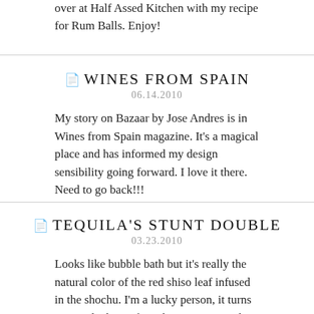over at Half Assed Kitchen with my recipe for Rum Balls. Enjoy!
WINES FROM SPAIN
06.14.2010
My story on Bazaar by Jose Andres is in Wines from Spain magazine. It's a magical place and has informed my design sensibility going forward. I love it there. Need to go back!!!
TEQUILA'S STUNT DOUBLE
03.23.2010
Looks like bubble bath but it's really the natural color of the red shiso leaf infused in the shochu. I'm a lucky person, it turns out. So lucky, in fact, that I was invited on